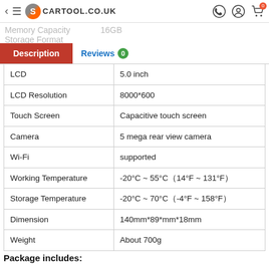CARTOOL.CO.UK — navigation bar with back, menu, logo, WhatsApp, account, cart (0)
Memory Capacity   16GB
Storage Format
| Feature | Specification |
| --- | --- |
| LCD | 5.0 inch |
| LCD Resolution | 8000*600 |
| Touch Screen | Capacitive touch screen |
| Camera | 5 mega rear view camera |
| Wi-Fi | supported |
| Working Temperature | -20°C ~ 55°C（14°F ~ 131°F） |
| Storage Temperature | -20°C ~ 70°C（-4°F ~ 158°F） |
| Dimension | 140mm*89*mm*18mm |
| Weight | About 700g |
Package includes: